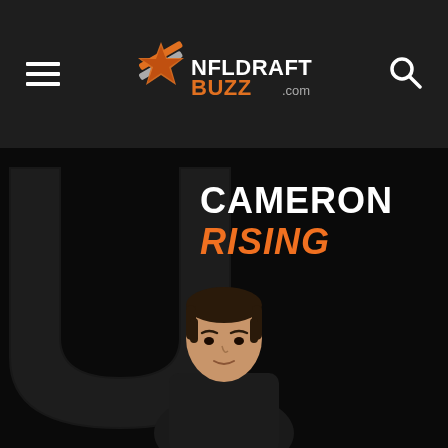[Figure (logo): NFLDraftBuzz.com logo with star icon in orange and white, website navigation header with hamburger menu and search icon]
CAMERON RISING
[Figure (photo): Cameron Rising football player photo with University of Utah U watermark in background on dark background]